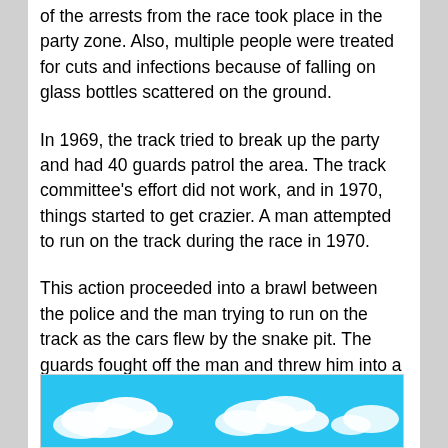of the arrests from the race took place in the party zone. Also, multiple people were treated for cuts and infections because of falling on glass bottles scattered on the ground.
In 1969, the track tried to break up the party and had 40 guards patrol the area. The track committee's effort did not work, and in 1970, things started to get crazier. A man attempted to run on the track during the race in 1970.
This action proceeded into a brawl between the police and the man trying to run on the track as the cars flew by the snake pit. The guards fought off the man and threw him into a small creek on the track's infield.
[Figure (photo): Blue sky with white clouds, partially visible at the bottom of the page]